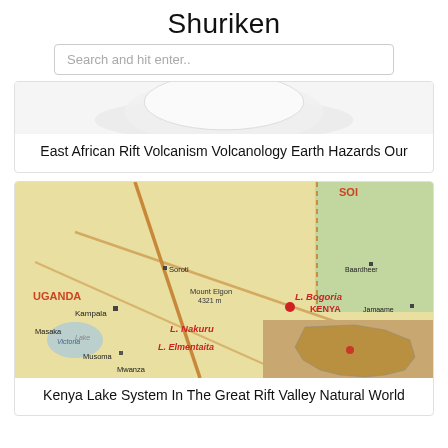Shuriken
[Figure (other): Search bar with placeholder text 'Search and hit enter..']
[Figure (other): Partial image of a white bowl or plate on white background]
East African Rift Volcanism Volcanology Earth Hazards Our
[Figure (map): Map showing Kenya and East Africa region with labeled locations: Soroti, Mount Elgon 4321m, L. Bogoria, KENYA, UGANDA, Kampala, Masaka, Lake Victoria, Musoma, Mwanza, L. Nakuru, L. Elmentaita, Nvari, Mount Kenya 5199m, Nairobi, Machakos, Kilimanjaro 5893m, Jamaame, Baardheer. Inset map of Africa. Red markers on lakes.]
Kenya Lake System In The Great Rift Valley Natural World